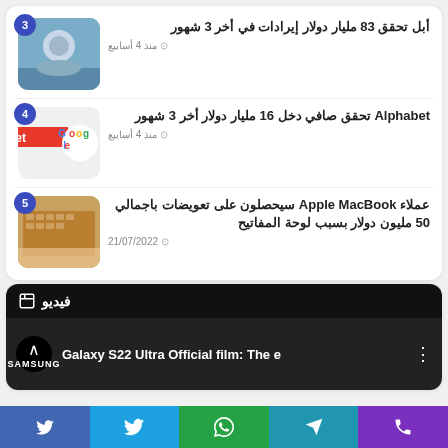أبل تحقق 83 مليار دولار إيرادات في أخر 3 شهور
منذ 4 أسابيع
[Figure (photo): Tim Cook, Apple CEO, in a blue shirt outdoors]
Alphabet تحقق صافي دخل 16 مليار دولار أخر 3 شهور
منذ 4 أسابيع
[Figure (photo): Alphabet and Google logo on a smartphone screen]
عملاء Apple MacBook سيحصلون على تعويضات باجمالي 50 مليون دولار بسبب لوحة المفاتيح
21/07/2022
[Figure (photo): Hands typing on Apple MacBook keyboard]
فيديو
Galaxy S22 Ultra Official film: The e